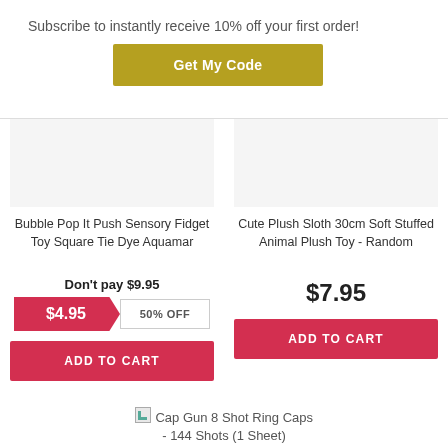Subscribe to instantly receive 10% off your first order!
Get My Code
Bubble Pop It Push Sensory Fidget Toy Square Tie Dye Aquamar
Don't pay $9.95
$4.95  50% OFF
ADD TO CART
Cute Plush Sloth 30cm Soft Stuffed Animal Plush Toy - Random
$7.95
ADD TO CART
[Figure (illustration): Small image icon placeholder for Cap Gun 8 Shot Ring Caps product]
Cap Gun 8 Shot Ring Caps - 144 Shots (1 Sheet)